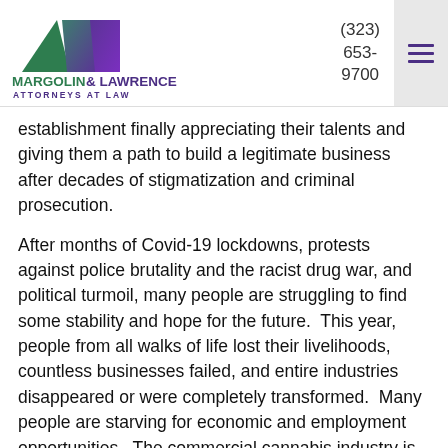[Figure (logo): Margolin & Lawrence Attorneys at Law logo with green and purple geometric shapes, firm name in purple and green text]
establishment finally appreciating their talents and giving them a path to build a legitimate business after decades of stigmatization and criminal prosecution.
After months of Covid-19 lockdowns, protests against police brutality and the racist drug war, and political turmoil, many people are struggling to find some stability and hope for the future.  This year, people from all walks of life lost their livelihoods, countless businesses failed, and entire industries disappeared or were completely transformed.  Many people are starving for economic and employment opportunities.  The commercial cannabis industry is a potential lifeline, with Los Angeles ground zero for this new economic engine.